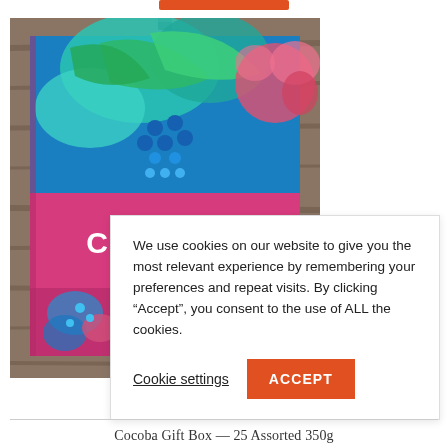[Figure (photo): Colorful Cocoba gift box with floral/abstract pattern in teal, blue, pink, and orange on a wooden background. The box displays the COCOBA brand name in white text on a pink band.]
We use cookies on our website to give you the most relevant experience by remembering your preferences and repeat visits. By clicking “Accept”, you consent to the use of ALL the cookies.
Cookie settings
ACCEPT
Cocoba Gift Box — 25 Assorted 350g